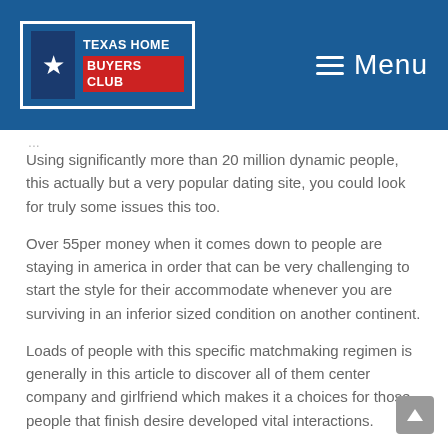[Figure (logo): Texas Home Buyers Club logo with star on blue background and red banner]
Menu
Using significantly more than 20 million dynamic people, this actually but a very popular dating site, you could look for truly some issues this too.
Over 55per money when it comes down to people are staying in america in order that can be very challenging to start the style for their accommodate whenever you are surviving in an inferior sized condition on another continent.
Loads of people with this specific matchmaking regimen is generally in this article to discover all of them center company and girlfriend which makes it a choices for those people that finish desire developed vital interactions.